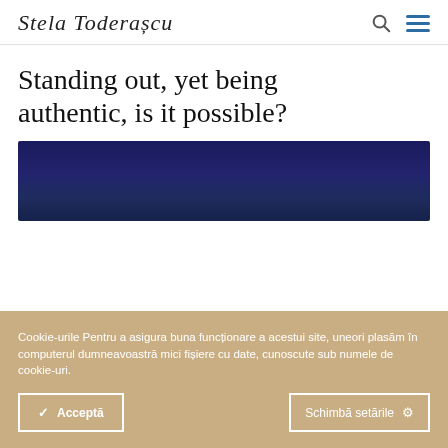Stela Toderașcu
Standing out, yet being authentic, is it possible?
[Figure (photo): Dark navy blue background image, partially visible below the title]
Cookie-urile Pentru a asigura buna funcționare a acestui site, uneori plasăm în computerul dumneavoastră mici fișiere cu date, cunoscute sub numele de cookie-uri.
✓  Acceptă
Schimbă setările ⚙